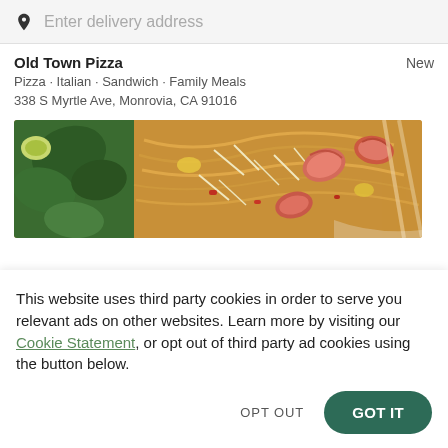[Figure (screenshot): Search bar with location pin icon and placeholder text 'Enter delivery address' on grey background]
Old Town Pizza
Pizza · Italian · Sandwich · Family Meals
338 S Myrtle Ave, Monrovia, CA 91016
[Figure (photo): Close-up food photo showing shrimp pad thai with green herbs, bean sprouts, and noodles]
This website uses third party cookies in order to serve you relevant ads on other websites. Learn more by visiting our Cookie Statement, or opt out of third party ad cookies using the button below.